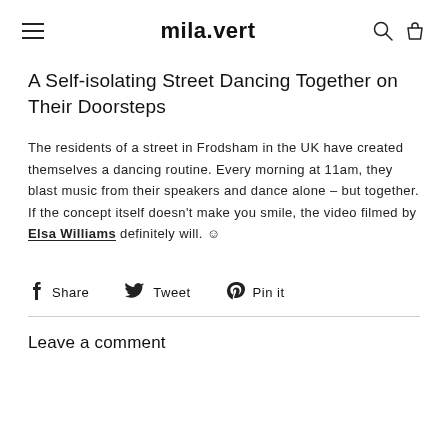mila.vert
A Self-isolating Street Dancing Together on Their Doorsteps
The residents of a street in Frodsham in the UK have created themselves a dancing routine. Every morning at 11am, they blast music from their speakers and dance alone – but together. If the concept itself doesn't make you smile, the video filmed by Elsa Williams definitely will. ☺
Share   Tweet   Pin it
Leave a comment